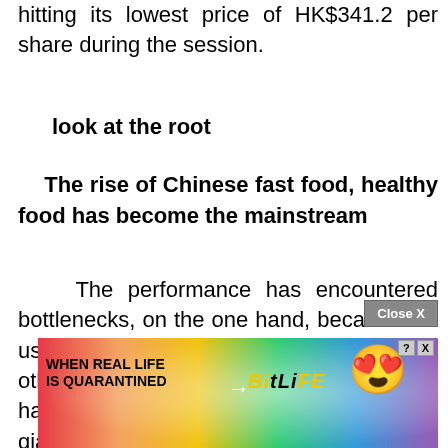hitting its lowest price of HK$341.2 per share during the session.
look at the root
The rise of Chinese fast food, healthy food has become the mainstream
The performance has encountered bottlenecks, on the one hand, because the user bonus period has long passed; on the other hand, the fierce industry competition has also put pressure on the fast food giants.
[Figure (other): Close X button and BitLife advertisement banner with colorful rainbow background, text 'WHEN REAL LIFE IS QUARANTINED' and BitLife logo with emoji character]